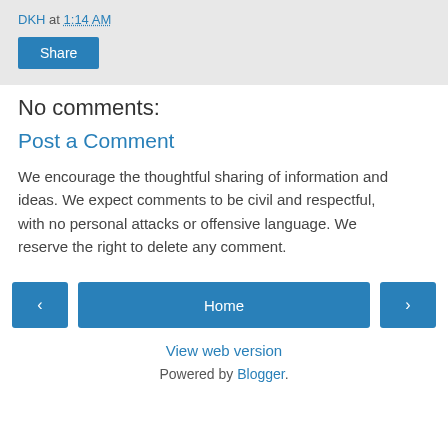DKH at 1:14 AM
Share
No comments:
Post a Comment
We encourage the thoughtful sharing of information and ideas. We expect comments to be civil and respectful, with no personal attacks or offensive language. We reserve the right to delete any comment.
‹
Home
›
View web version
Powered by Blogger.